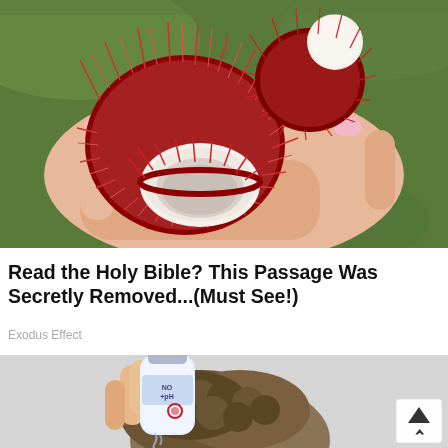[Figure (photo): A hand holding several rambutan fruits, one of which is open showing the white interior flesh, set against a green outdoor background.]
Read the Holy Bible? This Passage Was Secretly Removed...(Must See!)
Exodus Effect
[Figure (photo): A person pouring liquid from a small bottle onto the top of another person's curly hair, with a scroll-to-top arrow button visible in the lower right corner.]